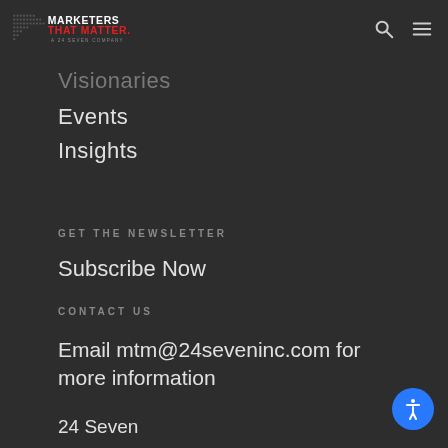Marketers That Matter. A 24 Seven Company
Visionaries
Events
Insights
Get the Newsletter
Subscribe Now
Contact Us
Email mtm@24seveninc.com for more information
24 Seven